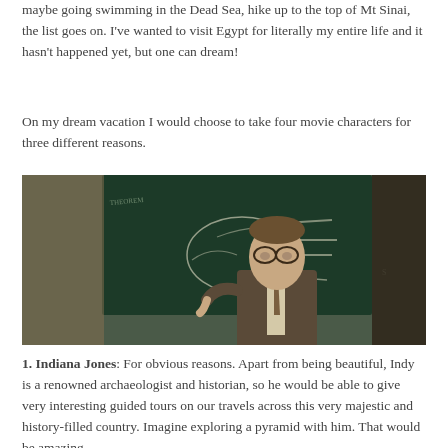maybe going swimming in the Dead Sea, hike up to the top of Mt Sinai, the list goes on. I've wanted to visit Egypt for literally my entire life and it hasn't happened yet, but one can dream!
On my dream vacation I would choose to take four movie characters for three different reasons.
[Figure (photo): A man in a suit and glasses standing in front of a chalkboard with diagrams, appearing to be a professor or teacher in a classroom setting.]
1. Indiana Jones: For obvious reasons. Apart from being beautiful, Indy is a renowned archaeologist and historian, so he would be able to give very interesting guided tours on our travels across this very majestic and history-filled country. Imagine exploring a pyramid with him. That would be amazing.
[Figure (photo): Partial image at the bottom of the page, appears to show a nighttime cityscape or landscape scene.]